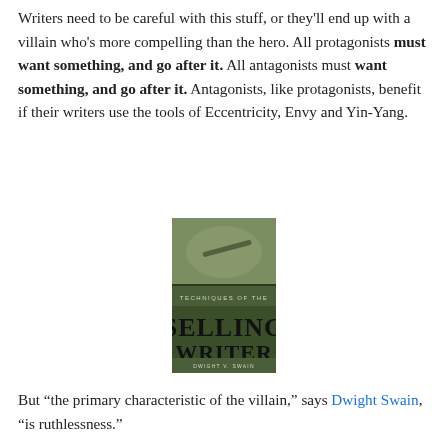Writers need to be careful with this stuff, or they'll end up with a villain who's more compelling than the hero. All protagonists must want something, and go after it. All antagonists must want something, and go after it. Antagonists, like protagonists, benefit if their writers use the tools of Eccentricity, Envy and Yin-Yang.
[Figure (photo): Book cover of 'Techniques of the Selling Writer' by Dwight V. Swain. Green cover with image of a hand writing, large bold text showing the title.]
But "the primary characteristic of the villain," says Dwight Swain, "is ruthlessness."